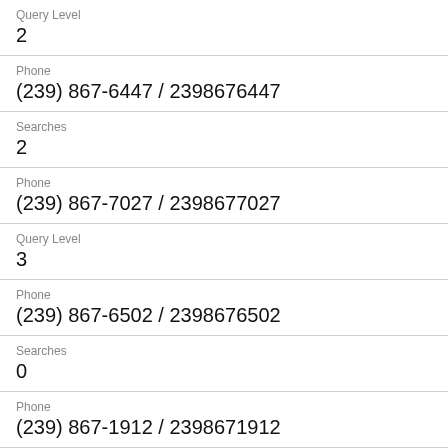Query Level
2
Phone
(239) 867-6447 / 2398676447
Searches
2
Phone
(239) 867-7027 / 2398677027
Query Level
3
Phone
(239) 867-6502 / 2398676502
Searches
0
Phone
(239) 867-1912 / 2398671912
Query Level
0
Phone